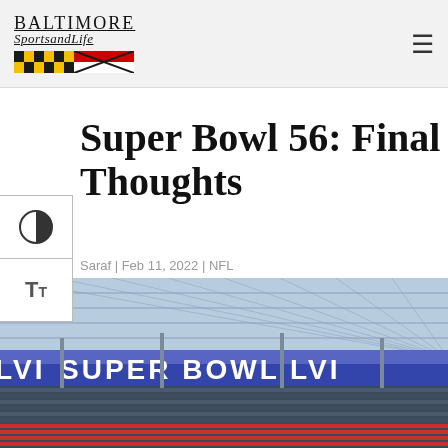Baltimore SportsandLife
Super Bowl 56: Final Thoughts
Saraf | Feb 11, 2022 | NFL
[Figure (photo): Interior view of Super Bowl LVI stadium showing the scoreboard displaying 'SUPER BOWL LVI' in large letters, with the stadium seating and roof structure visible.]